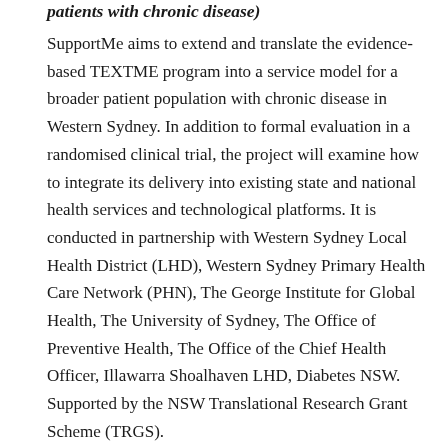patients with chronic disease)
SupportMe aims to extend and translate the evidence-based TEXTME program into a service model for a broader patient population with chronic disease in Western Sydney. In addition to formal evaluation in a randomised clinical trial, the project will examine how to integrate its delivery into existing state and national health services and technological platforms. It is conducted in partnership with Western Sydney Local Health District (LHD), Western Sydney Primary Health Care Network (PHN), The George Institute for Global Health, The University of Sydney, The Office of Preventive Health, The Office of the Chief Health Officer, Illawarra Shoalhaven LHD, Diabetes NSW. Supported by the NSW Translational Research Grant Scheme (TRGS).